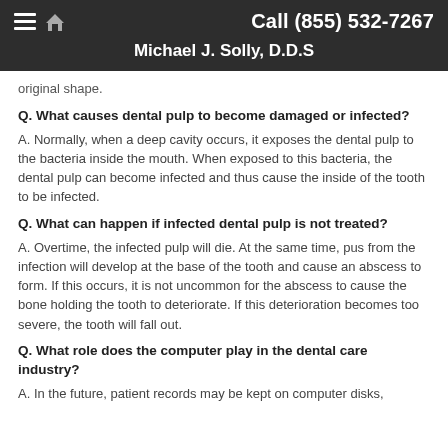Call (855) 532-7267
Michael J. Solly, D.D.S
original shape.
Q. What causes dental pulp to become damaged or infected?
A. Normally, when a deep cavity occurs, it exposes the dental pulp to the bacteria inside the mouth. When exposed to this bacteria, the dental pulp can become infected and thus cause the inside of the tooth to be infected.
Q. What can happen if infected dental pulp is not treated?
A. Overtime, the infected pulp will die. At the same time, pus from the infection will develop at the base of the tooth and cause an abscess to form. If this occurs, it is not uncommon for the abscess to cause the bone holding the tooth to deteriorate. If this deterioration becomes too severe, the tooth will fall out.
Q. What role does the computer play in the dental care industry?
A. In the future, patient records may be kept on computer disks,